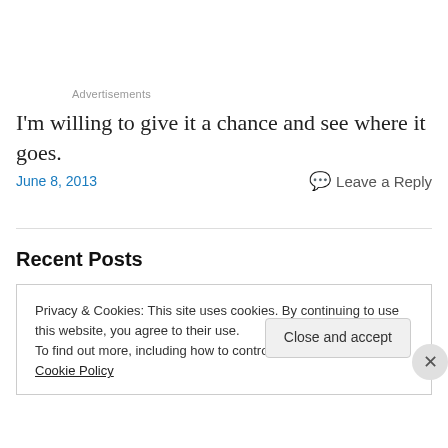Advertisements
I'm willing to give it a chance and see where it goes.
June 8, 2013
Leave a Reply
Recent Posts
Privacy & Cookies: This site uses cookies. By continuing to use this website, you agree to their use.
To find out more, including how to control cookies, see here: Cookie Policy
Close and accept